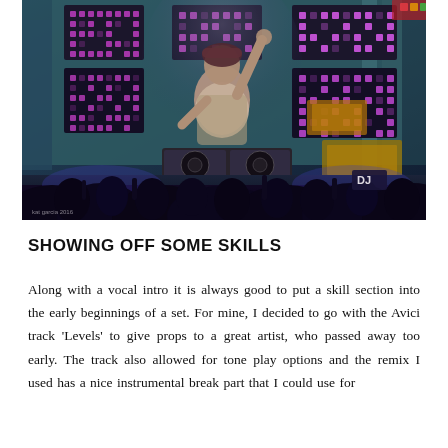[Figure (photo): A DJ performing on stage with arms raised under colorful LED light panels. Crowd silhouettes visible in foreground. Equipment visible on stage. Small watermark text visible bottom left reading 'kat garcia 2016'.]
SHOWING OFF SOME SKILLS
Along with a vocal intro it is always good to put a skill section into the early beginnings of a set. For mine, I decided to go with the Avici track 'Levels' to give props to a great artist, who passed away too early. The track also allowed for tone play options and the remix I used has a nice instrumental break part that I could use for